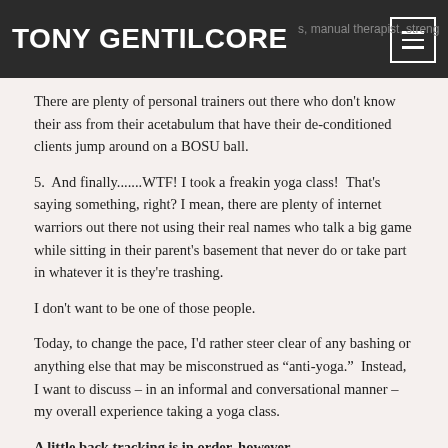TONY GENTILCORE
There are plenty of personal trainers out there who don't know their ass from their acetabulum that have their de-conditioned clients jump around on a BOSU ball.
5.  And finally.......WTF! I took a freakin yoga class!  That's saying something, right? I mean, there are plenty of internet warriors out there not using their real names who talk a big game while sitting in their parent's basement that never do or take part in whatever it is they're trashing.
I don't want to be one of those people.
Today, to change the pace, I'd rather steer clear of any bashing or anything else that may be misconstrued as “anti-yoga.”  Instead, I want to discuss – in an informal and conversational manner – my overall experience taking a yoga class.
A little back tracking is in order, however.
In a lot of ways a large reason why I took a yoga class in the first place was because my girlfriend, Lisa, happens to be a member